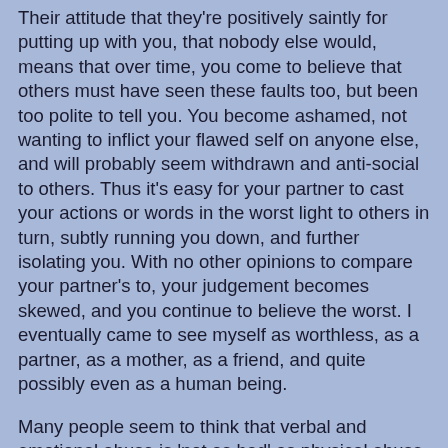Their attitude that they're positively saintly for putting up with you, that nobody else would, means that over time, you come to believe that others must have seen these faults too, but been too polite to tell you. You become ashamed, not wanting to inflict your flawed self on anyone else, and will probably seem withdrawn and anti-social to others. Thus it's easy for your partner to cast your actions or words in the worst light to others in turn, subtly running you down, and further isolating you. With no other opinions to compare your partner's to, your judgement becomes skewed, and you continue to believe the worst. I eventually came to see myself as worthless, as a partner, as a mother, as a friend, and quite possibly even as a human being.
Many people seem to think that verbal and emotional abuse is 'not as bad' as physical abuse. "It's just words." Even the victim/survivor may think this, or be reluctant to reveal it, or even to see it as abuse. Those harsh words can actually often go hand-in-hand with physical violence, but even without a blow struck, they can be devastating. Without wanting to minimise the hurt from physical abuse at all, damage from a broken limb can heal faster than damage